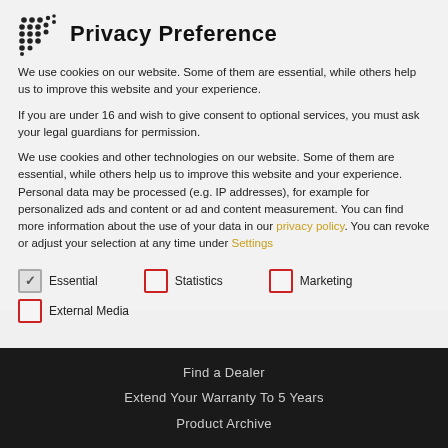Privacy Preference
We use cookies on our website. Some of them are essential, while others help us to improve this website and your experience.
If you are under 16 and wish to give consent to optional services, you must ask your legal guardians for permission.
We use cookies and other technologies on our website. Some of them are essential, while others help us to improve this website and your experience. Personal data may be processed (e.g. IP addresses), for example for personalized ads and content or ad and content measurement. You can find more information about the use of your data in our privacy policy. You can revoke or adjust your selection at any time under Settings
Essential (checked)
Statistics (unchecked)
Marketing (unchecked)
External Media (unchecked)
Find a Dealer
Extend Your Warranty To 5 Years
Product Archive